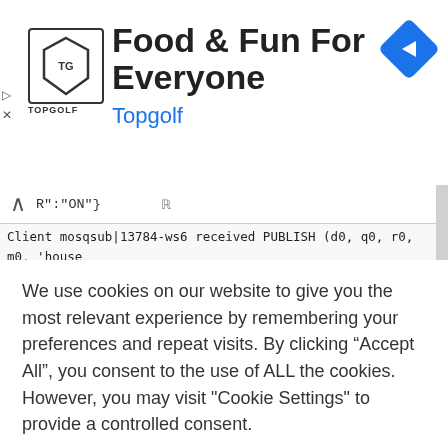[Figure (screenshot): Advertisement banner for Topgolf with logo, title 'Food & Fun For Everyone', subtitle 'Topgolf', navigation icon, and small ad indicators on the left.]
[Figure (screenshot): Terminal/console output showing MQTT publish messages from mosqsub client. Code lines: 'R":"ON"}', 'Client mosqsub|13784-ws6 received PUBLISH (d0, q0, r0, m0, house/sonoff-light/stat/POWER', ... (2 bytes))', 'ON', 'Client mosqsub|13784-ws6 received PUBLISH (d0, q0, r0, m0, house/sonoff-light/cmnd/power', ... (3 bytes))'. Red arrows pointing to two lines with annotation 'Response From Switch'.]
We use cookies on our website to give you the most relevant experience by remembering your preferences and repeat visits. By clicking “Accept All”, you consent to the use of ALL the cookies. However, you may visit "Cookie Settings" to provide a controlled consent.